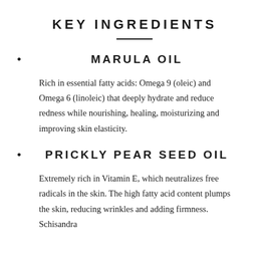KEY INGREDIENTS
MARULA OIL
Rich in essential fatty acids: Omega 9 (oleic) and Omega 6 (linoleic) that deeply hydrate and reduce redness while nourishing, healing, moisturizing and improving skin elasticity.
PRICKLY PEAR SEED OIL
Extremely rich in Vitamin E, which neutralizes free radicals in the skin. The high fatty acid content plumps the skin, reducing wrinkles and adding firmness. Schisandra